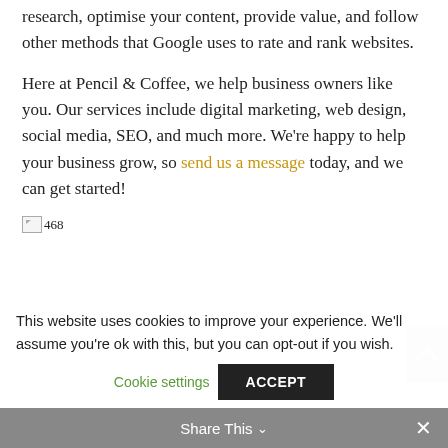research, optimise your content, provide value, and follow other methods that Google uses to rate and rank websites.
Here at Pencil & Coffee, we help business owners like you. Our services include digital marketing, web design, social media, SEO, and much more. We're happy to help your business grow, so send us a message today, and we can get started!
[Figure (other): Broken image placeholder with label '468']
This website uses cookies to improve your experience. We'll assume you're ok with this, but you can opt-out if you wish.
Cookie settings   ACCEPT
Share This ∨  ✕